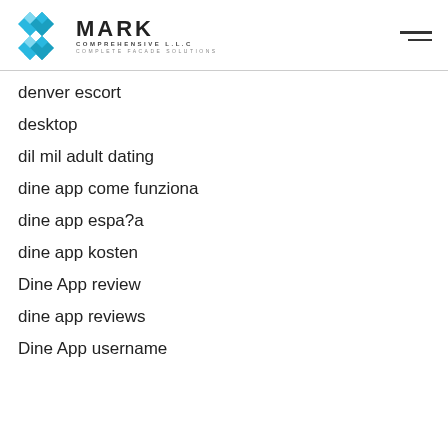MARK COMPREHENSIVE LLC — COMPLETE FACADE SOLUTIONS
denver escort
desktop
dil mil adult dating
dine app come funziona
dine app espa?a
dine app kosten
Dine App review
dine app reviews
Dine App username